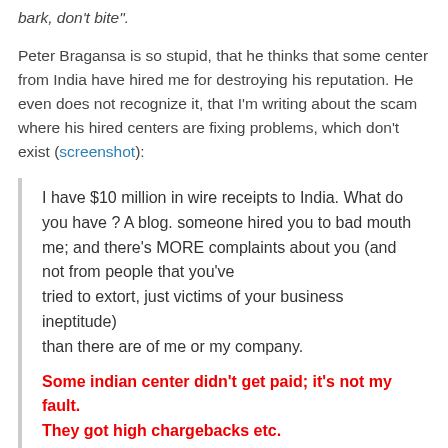bark, don't bite".
Peter Bragansa is so stupid, that he thinks that some center from India have hired me for destroying his reputation. He even does not recognize it, that I'm writing about the scam where his hired centers are fixing problems, which don't exist (screenshot):
I have $10 million in wire receipts to India. What do you have ? A blog. someone hired you to bad mouth me; and there's MORE complaints about you (and not from people that you've tried to extort, just victims of your business ineptitude) than there are of me or my company.
Some indian center didn't get paid; it's not my fault. They got high chargebacks etc.